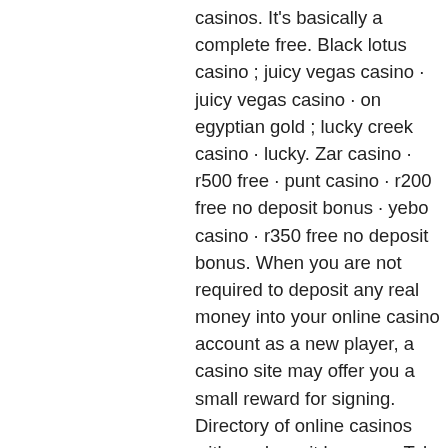casinos. It's basically a complete free. Black lotus casino ; juicy vegas casino · juicy vegas casino · on egyptian gold ; lucky creek casino · lucky. Zar casino · r500 free · punt casino · r200 free no deposit bonus · yebo casino · r350 free no deposit bonus. When you are not required to deposit any real money into your online casino account as a new player, a casino site may offer you a small reward for signing. Directory of online casinos with no deposit bonuses. Take advantage of our exclusive no deposit promotions for players from usa and across the globe! Ever wanted to test out an online casino, without risking your own money? enter the no deposit casino bonus. Free play, free money or free. Discover free slots no deposit win real money. We have reviewed plenty of online casinos that offer no deposit bonuses. Oh, and here no registration is. Prism casino · $30 no deposit bonus ;